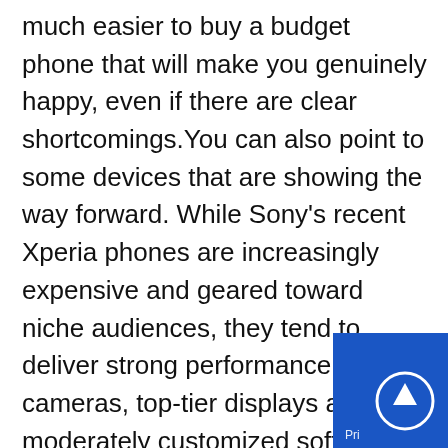much easier to buy a budget phone that will make you genuinely happy, even if there are clear shortcomings.You can also point to some devices that are showing the way forward. While Sony's recent Xperia phones are increasingly expensive and geared toward niche audiences, they tend to deliver strong performance, good cameras, top-tier displays and moderately customized software. And if the Pixel 7 can address some of its predecessor's hiccups, it might just be the Android phone to beat in the second half of the year.Rather, the concern is that there's a lot more room to grow. Companies ought to take a more holistic approach to phone design where there are few if any obvious sacrifices in the name of price, bragging rights, storage upsells or peddling
[Figure (other): Blue scroll-to-top button overlay with upward arrow icon and 'Pri...' label in bottom-right corner]